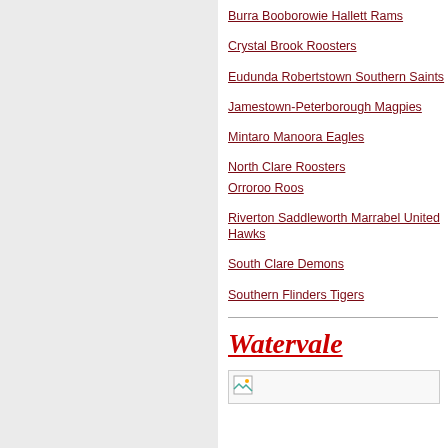Burra Booborowie Hallett Rams
Crystal Brook Roosters
Eudunda Robertstown Southern Saints
Jamestown-Peterborough Magpies
Mintaro Manoora Eagles
North Clare Roosters
Orroroo Roos
Riverton Saddleworth Marrabel United Hawks
South Clare Demons
Southern Flinders Tigers
Watervale
[Figure (photo): Broken image placeholder for Watervale section]